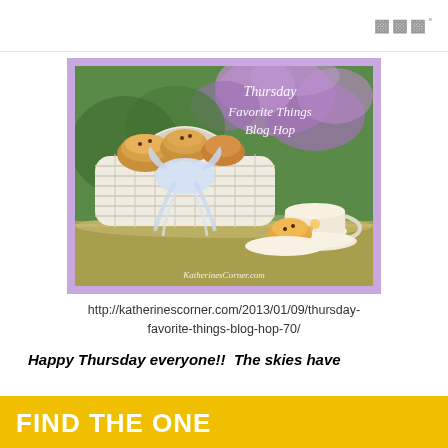www
[Figure (illustration): Thursday Favorite Things Blog Hop promotional image with a white wicker basket of muffins, a teacup, blueberries, and flowers in a lilac/purple border. Text reads 'Thursday Favorite Things Blog Hop' and watermark 'KatherinesCorner.com']
http://katherinescorner.com/2013/01/09/thursday-favorite-things-blog-hop-70/
Happy Thursday everyone!!  The skies have
[Figure (infographic): Yellow advertisement banner reading FIND THE ONE with a dog image and close button]